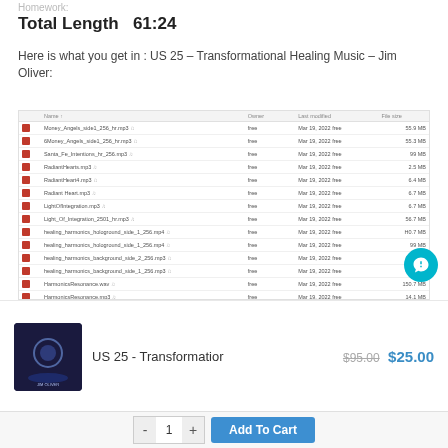Homework:
Total Length  61:24
Here is what you get in : US 25 – Transformational Healing Music – Jim Oliver:
| Name | Owner | Last modified | File size |
| --- | --- | --- | --- |
| Money_Angels_side1_256_hr.mp3 | free | Mar 19, 2022 free | 55.9 MB |
| Money_Angels_side1_256_hr.mp3 | free | Mar 19, 2022 free | 55.3 MB |
| Santa_Fe_Intentions_hr_256.mp3 | free | Mar 19, 2022 free | 99 MB |
| RadiantHearts.mp3 | free | Mar 19, 2022 free | 2.5 MB |
| RadiantHeart4.mp3 | free | Mar 19, 2022 free | 6.4 MB |
| Radiant Heart.mp3 | free | Mar 19, 2022 free | 6.7 MB |
| LightOfIntegration.mp3 | free | Mar 19, 2022 free | 6.7 MB |
| Light_Of_Integration_2501_hr.mp3 | free | Mar 19, 2022 free | 56.7 MB |
| healing_harmonics_hologround_side_1_256.mp4 | free | Mar 19, 2022 free | H0.7 MB |
| healing_harmonics_hologround_side_1_256.mp4 | free | Mar 19, 2022 free | 99 MB |
| healing_harmonics_background_side_2_256.mp3 | free | Mar 19, 2022 free | 66.9 MB |
| healing_harmonics_background_side_1_256.mp3 | free | Mar 19, 2022 free | 95 MB |
| HarmonicsResonance.wav | free | Mar 19, 2022 free | 150.7 MB |
| HarmonicsResonance.mp3 | free | Mar 19, 2022 free | 14.1 MB |
| scaling_within_2561.mp3 | free | Mar 19, 2022 free | 40.6 MB |
| DeepGate.mp3 | free | Mar 19, 2022 free | 2.4 MB |
| Crystal_Star_hr_256.mp3 | free | Mar 19, 2022 free | 63.6 MB |
US 25 - Transformation
$95.00 $25.00
- 1 + Add To Cart